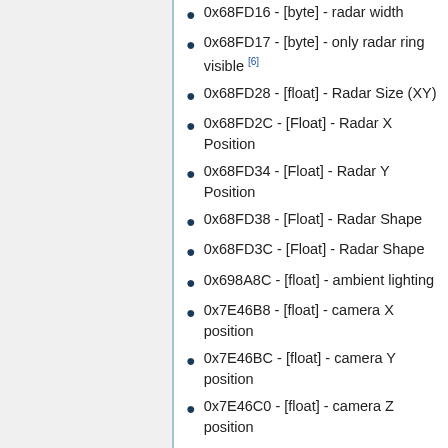0x68FD16 - [byte] - radar width
0x68FD17 - [byte] - only radar ring visible [6]
0x68FD28 - [float] - Radar Size (XY)
0x68FD2C - [Float] - Radar X Position
0x68FD34 - [Float] - Radar Y Position
0x68FD38 - [Float] - Radar Shape
0x68FD3C - [Float] - Radar Shape
0x698A8C - [float] - ambient lighting
0x7E46B8 - [float] - camera X position
0x7E46BC - [float] - camera Y position
0x7E46C0 - [float] - camera Z position
0x7E46F5 - [byte] - wide screen borders
0x7E4764 - [byte] - car camera